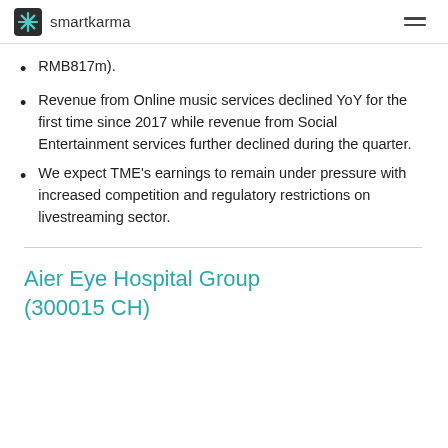smartkarma
RMB817m).
Revenue from Online music services declined YoY for the first time since 2017 while revenue from Social Entertainment services further declined during the quarter.
We expect TME's earnings to remain under pressure with increased competition and regulatory restrictions on livestreaming sector.
Aier Eye Hospital Group (300015 CH)